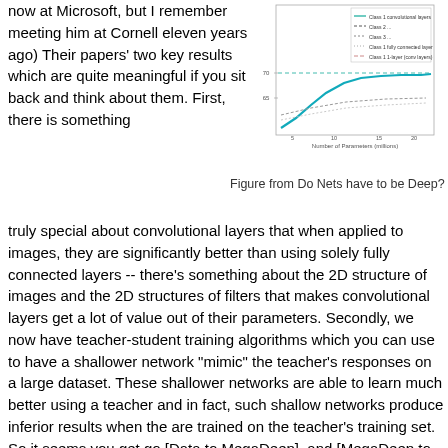now at Microsoft, but I remember meeting him at Cornell eleven years ago) Their papers' two key results which are quite meaningful if you sit back and think about them. First, there is something
[Figure (continuous-plot): A line chart from the paper 'Do Nets have to be Deep?' showing performance curves vs number of parameters, with a legend listing several curves (Class 1 convolutional layers, Class 2, etc.). The x-axis shows Number of Parameters (millions) and the y-axis shows accuracy or error. A teal/cyan curve rises steeply before leveling off above a dotted line.]
Figure from Do Nets have to be Deep?
truly special about convolutional layers that when applied to images, they are significantly better than using solely fully connected layers -- there’s something about the 2D structure of images and the 2D structures of filters that makes convolutional layers get a lot of value out of their parameters. Secondly, we now have teacher-student training algorithms which you can use to have a shallower network “mimic” the teacher’s responses on a large dataset. These shallower networks are able to learn much better using a teacher and in fact, such shallow networks produce inferior results when the are trained on the teacher’s training set. So it seems you get go [Data to MegaDeep], and [MegaDeep to MiniDeep], but you cannot directly go from [Data to MiniDeep].